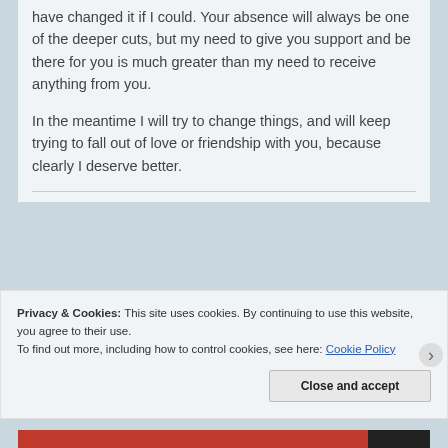have changed it if I could. Your absence will always be one of the deeper cuts, but my need to give you support and be there for you is much greater than my need to receive anything from you.
In the meantime I will try to change things, and will keep trying to fall out of love or friendship with you, because clearly I deserve better.
Privacy & Cookies: This site uses cookies. By continuing to use this website, you agree to their use.
To find out more, including how to control cookies, see here: Cookie Policy